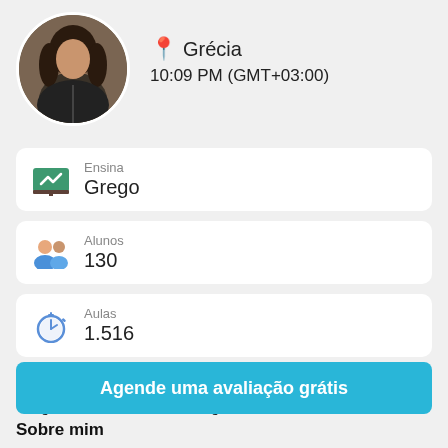[Figure (photo): Circular profile photo of a woman with dark wavy hair wearing a leather jacket]
📍 Grécia
10:09 PM (GMT+03:00)
Ensina
Grego
Alunos
130
Aulas
1.516
Fala
Grego Nativo, Francês C2, Inglês C2,
Agende uma avaliação grátis
Sobre mim